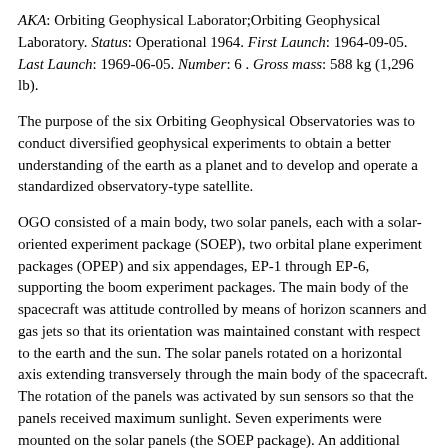AKA: Orbiting Geophysical Laborator;Orbiting Geophysical Laboratory. Status: Operational 1964. First Launch: 1964-09-05. Last Launch: 1969-06-05. Number: 6 . Gross mass: 588 kg (1,296 lb).
The purpose of the six Orbiting Geophysical Observatories was to conduct diversified geophysical experiments to obtain a better understanding of the earth as a planet and to develop and operate a standardized observatory-type satellite.
OGO consisted of a main body, two solar panels, each with a solar-oriented experiment package (SOEP), two orbital plane experiment packages (OPEP) and six appendages, EP-1 through EP-6, supporting the boom experiment packages. The main body of the spacecraft was attitude controlled by means of horizon scanners and gas jets so that its orientation was maintained constant with respect to the earth and the sun. The solar panels rotated on a horizontal axis extending transversely through the main body of the spacecraft. The rotation of the panels was activated by sun sensors so that the panels received maximum sunlight. Seven experiments were mounted on the solar panels (the SOEP package). An additional axis, oriented vertically across the front of the main body, carried seven experiments (the OPEP package). Nominally, these sensors observed in a forward direction in the